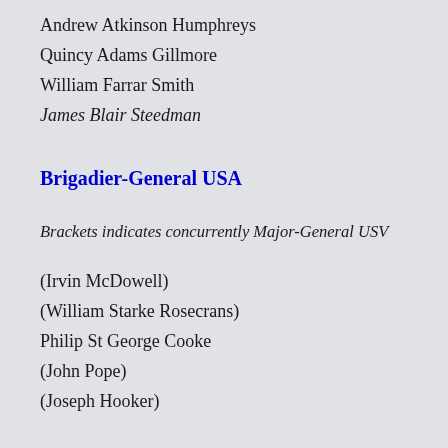Andrew Atkinson Humphreys
Quincy Adams Gillmore
William Farrar Smith
James Blair Steedman
Brigadier-General USA
Brackets indicates concurrently Major-General USV
(Irvin McDowell)
(William Starke Rosecrans)
Philip St George Cooke
(John Pope)
(Joseph Hooker)